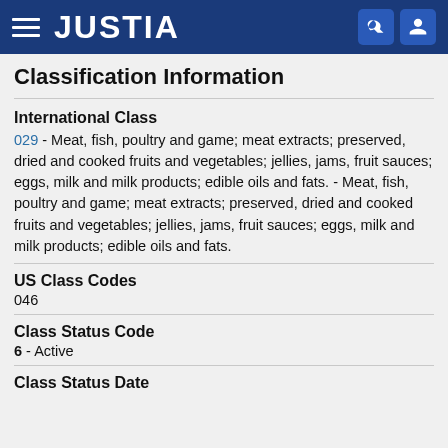JUSTIA
Classification Information
International Class
029 - Meat, fish, poultry and game; meat extracts; preserved, dried and cooked fruits and vegetables; jellies, jams, fruit sauces; eggs, milk and milk products; edible oils and fats. - Meat, fish, poultry and game; meat extracts; preserved, dried and cooked fruits and vegetables; jellies, jams, fruit sauces; eggs, milk and milk products; edible oils and fats.
US Class Codes
046
Class Status Code
6 - Active
Class Status Date